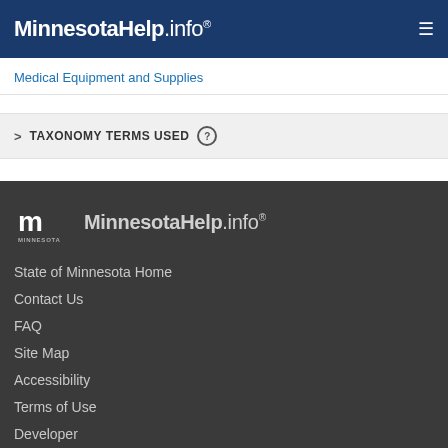MinnesotaHelp.info®
Medical Equipment and Supplies
> TAXONOMY TERMS USED ?
[Figure (logo): Minnesota state logo and MinnesotaHelp.info® wordmark in footer]
State of Minnesota Home
Contact Us
FAQ
Site Map
Accessibility
Terms of Use
Developer